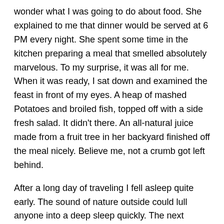wonder what I was going to do about food. She explained to me that dinner would be served at 6 PM every night. She spent some time in the kitchen preparing a meal that smelled absolutely marvelous. To my surprise, it was all for me. When it was ready, I sat down and examined the feast in front of my eyes. A heap of mashed Potatoes and broiled fish, topped off with a side fresh salad. It didn't there. An all-natural juice made from a fruit tree in her backyard finished off the meal nicely. Believe me, not a crumb got left behind.
After a long day of traveling I fell asleep quite early. The sound of nature outside could lull anyone into a deep sleep quickly. The next morning I awoke early to find breakfast served bright and early at 6AM. A generous helping of scrambled eggs, onions, breakfast meat, toast, and delicious beverage was waiting for me downstairs. I was informed that Georgia would be picking me up at 8:30AM, so after breakfast I unpacked and relaxed.